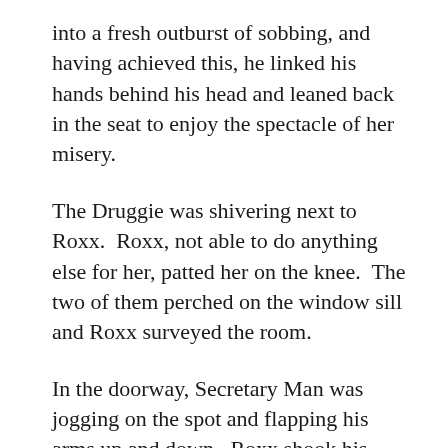into a fresh outburst of sobbing, and having achieved this, he linked his hands behind his head and leaned back in the seat to enjoy the spectacle of her misery.
The Druggie was shivering next to Roxx.  Roxx, not able to do anything else for her, patted her on the knee.  The two of them perched on the window sill and Roxx surveyed the room.
In the doorway, Secretary Man was jogging on the spot and flapping his arms up and down.  Roxx shook his head impatiently.  It hadn't been more than 15 hours and the guy already was worrying he was getting flabby.
A bleary-eyed young man wandered in from the